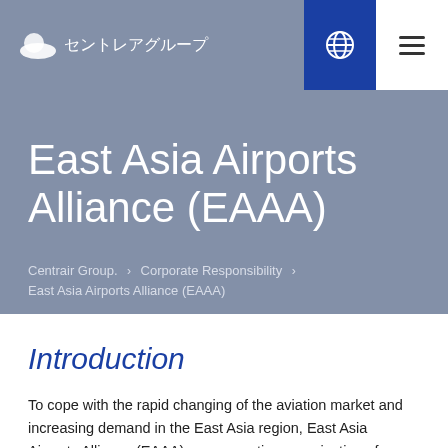セントレアグループ
East Asia Airports Alliance (EAAA)
Centrair Group. › Corporate Responsibility › East Asia Airports Alliance (EAAA)
Introduction
To cope with the rapid changing of the aviation market and increasing demand in the East Asia region, East Asia Airports Alliance (EAAA), a cooperative organization of leading airport